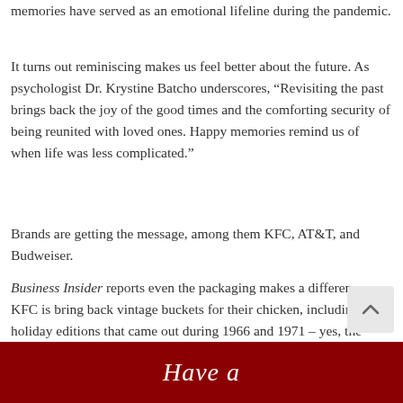memories have served as an emotional lifeline during the pandemic.
It turns out reminiscing makes us feel better about the future. As psychologist Dr. Krystine Batcho underscores, “Revisiting the past brings back the joy of the good times and the comforting security of being reunited with loved ones. Happy memories remind us of when life was less complicated.”
Brands are getting the message, among them KFC, AT&T, and Budweiser.
Business Insider reports even the packaging makes a difference. KFC is bring back vintage buckets for their chicken, including the holiday editions that came out during 1966 and 1971 – yes, the same years we experienced Led Zeppelin, the Who, and Janis Joplin.
[Figure (other): Dark red banner with cursive white text reading 'Have a']